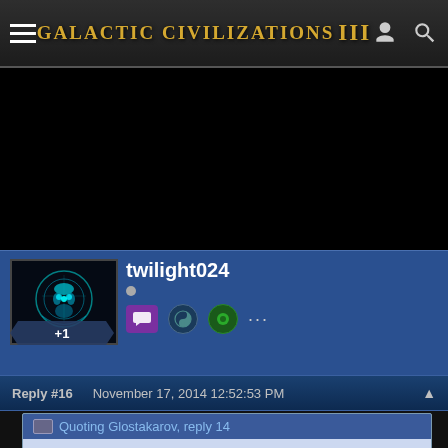Galactic Civilizations III
[Figure (screenshot): Black advertisement/banner area]
twilight024
+1
Reply #16   November 17, 2014 12:52:53 PM
Quoting Glostakarov, reply 14
Posted some years ago by I think Frogboy:
Reduced 55%
Reduced 66%